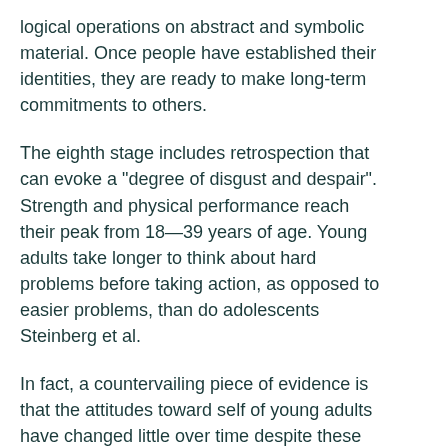logical operations on abstract and symbolic material. Once people have established their identities, they are ready to make long-term commitments to others.
The eighth stage includes retrospection that can evoke a "degree of disgust and despair". Strength and physical performance reach their peak from 18—39 years of age. Young adults take longer to think about hard problems before taking action, as opposed to easier problems, than do adolescents Steinberg et al.
In fact, a countervailing piece of evidence is that the attitudes toward self of young adults have changed little over time despite these sociological changes. Legitimizing spiritual development in the middle grades through critical historiography.
Settersten Adolescence and young adulthood form a continuum for many development processes, but there